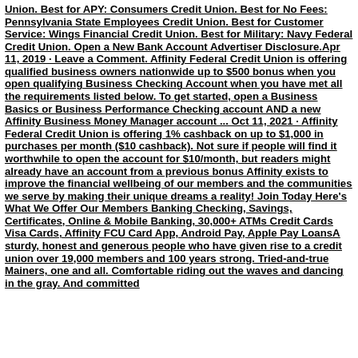Union. Best for APY: Consumers Credit Union. Best for No Fees: Pennsylvania State Employees Credit Union. Best for Customer Service: Wings Financial Credit Union. Best for Military: Navy Federal Credit Union. Open a New Bank Account Advertiser Disclosure.Apr 11, 2019 · Leave a Comment. Affinity Federal Credit Union is offering qualified business owners nationwide up to $500 bonus when you open qualifying Business Checking Account when you have met all the requirements listed below. To get started, open a Business Basics or Business Performance Checking account AND a new Affinity Business Money Manager account ... Oct 11, 2021 · Affinity Federal Credit Union is offering 1% cashback on up to $1,000 in purchases per month ($10 cashback). Not sure if people will find it worthwhile to open the account for $10/month, but readers might already have an account from a previous bonus Affinity exists to improve the financial wellbeing of our members and the communities we serve by making their unique dreams a reality! Join Today Here's What We Offer Our Members Banking Checking, Savings, Certificates, Online & Mobile Banking, 30,000+ ATMs Credit Cards Visa Cards, Affinity FCU Card App, Android Pay, Apple Pay LoansA sturdy, honest and generous people who have given rise to a credit union over 19,000 members and 100 years strong. Tried-and-true Mainers, one and all. Comfortable riding out the waves and dancing in the gray. And committed